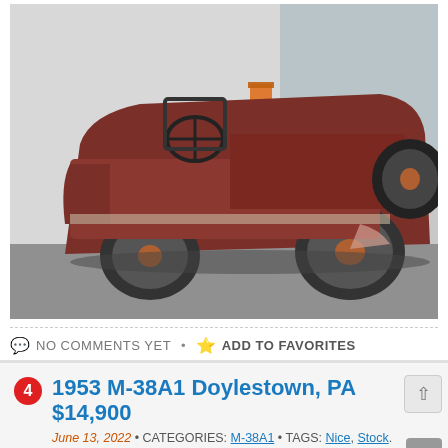[Figure (photo): Rear three-quarter view of a 1953 M-38A1 Jeep in worn red/rust color, parked on pavement in front of a building. The Jeep is a bare frame/body with no top, showing the steering wheel, spare tire on the back, and general weathering and rust damage.]
NO COMMENTS YET • ADD TO FAVORITES
1953 M-38A1 Doylestown, PA $14,900
June 13, 2022 • CATEGORIES: M-38A1 • TAGS: Nice, Stock.
UPDATE: Back up for sale; price dropped to $14,900. Steve